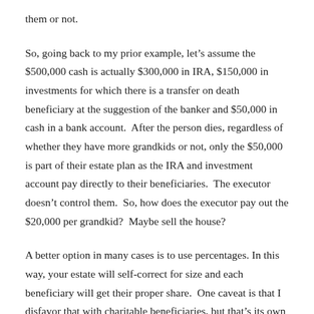them or not.
So, going back to my prior example, let’s assume the $500,000 cash is actually $300,000 in IRA, $150,000 in investments for which there is a transfer on death beneficiary at the suggestion of the banker and $50,000 in cash in a bank account. After the person dies, regardless of whether they have more grandkids or not, only the $50,000 is part of their estate plan as the IRA and investment account pay directly to their beneficiaries. The executor doesn’t control them. So, how does the executor pay out the $20,000 per grandkid? Maybe sell the house?
A better option in many cases is to use percentages. In this way, your estate will self-correct for size and each beneficiary will get their proper share. One caveat is that I disfavor that with charitable beneficiaries, but that’s its own article.